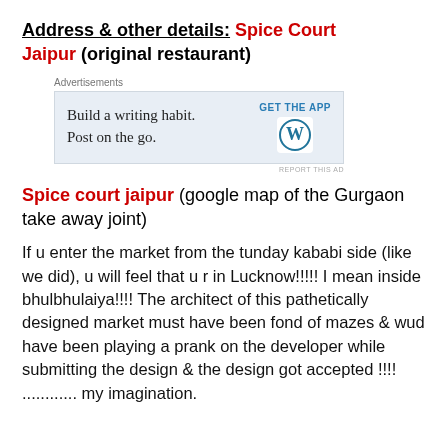Address & other details: Spice Court Jaipur (original restaurant)
[Figure (screenshot): WordPress advertisement: 'Build a writing habit. Post on the go.' with GET THE APP button and WordPress logo on light blue background]
Spice court jaipur (google map of the Gurgaon take away joint)
If u enter the market from the tunday kababi side (like we did), u will feel that u r in Lucknow!!!!! I mean inside bhulbhulaiya!!!! The architect of this pathetically designed market must have been fond of mazes & wud have been playing a prank on the developer while submitting the design & the design got accepted !!!! ............ my imagination.